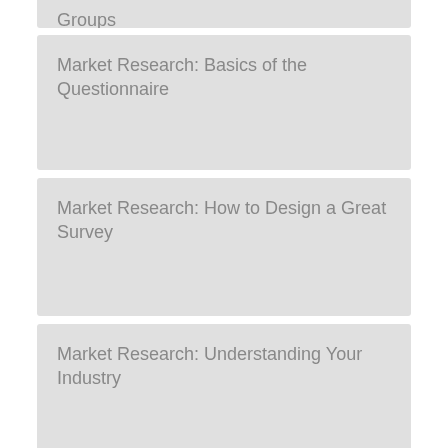Groups
Market Research: Basics of the Questionnaire
Market Research: How to Design a Great Survey
Market Research: Understanding Your Industry
SMS Marketing Software – Find the Perfect Platform
SMS Marketing Best Practices
Types of SMS Marketing